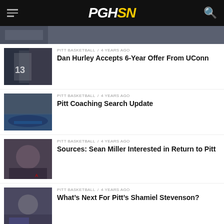PGHSN
[Figure (photo): Partial basketball image at top of page]
PITT BASKETBALL / 4 years ago
Dan Hurley Accepts 6-Year Offer From UConn
[Figure (photo): Basketball coach in dark jacket with player wearing #13 jersey]
PITT BASKETBALL / 4 years ago
Pitt Coaching Search Update
[Figure (photo): Basketball arena interior view]
PITT BASKETBALL / 4 years ago
Sources: Sean Miller Interested in Return to Pitt
[Figure (photo): Man smiling at press conference with Arizona logo]
PITT BASKETBALL / 4 years ago
What's Next For Pitt's Shamiel Stevenson?
[Figure (photo): Basketball player in arena setting]